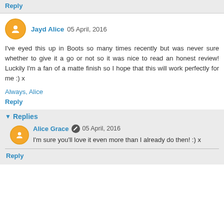Reply
Jayd Alice  05 April, 2016
I've eyed this up in Boots so many times recently but was never sure whether to give it a go or not so it was nice to read an honest review! Luckily I'm a fan of a matte finish so I hope that this will work perfectly for me :) x
Always, Alice
Reply
Replies
Alice Grace  05 April, 2016
I'm sure you'll love it even more than I already do then! :) x
Reply